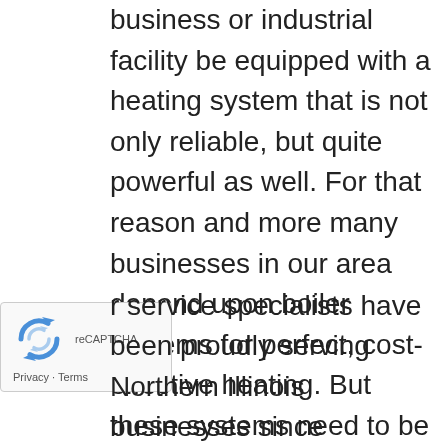business or industrial facility be equipped with a heating system that is not only reliable, but quite powerful as well. For that reason and more many businesses in our area depend upon boiler systems for perfect, cost-effective heating. But these systems need to be installed with precision, and must be maintained in order to operate at peak capability. Are you searching for a team that has the skill and equipment to suit all of your boiler service needs? General Mechanical of Chicago, Illinois has you covered!
[Figure (other): Google reCAPTCHA widget overlay showing the reCAPTCHA logo (two circular arrows) and Privacy · Terms links]
r service specialists have been proudly serving Northern Illinois businesses since